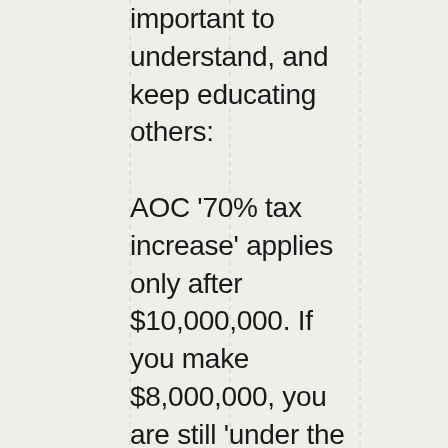important to understand, and keep educating others:

AOC '70% tax increase' applies only after $10,000,000. If you make $8,000,000, you are still 'under the wire'. If you have more than $10,000,000, it would be nice if you had enough